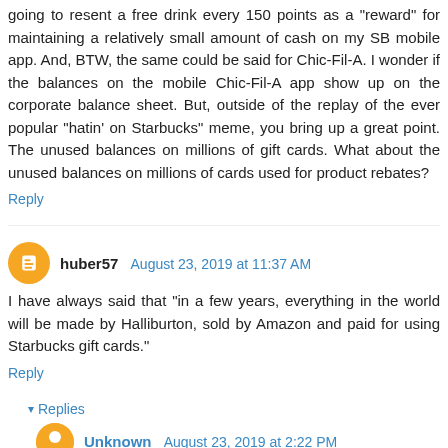going to resent a free drink every 150 points as a "reward" for maintaining a relatively small amount of cash on my SB mobile app. And, BTW, the same could be said for Chic-Fil-A. I wonder if the balances on the mobile Chic-Fil-A app show up on the corporate balance sheet. But, outside of the replay of the ever popular "hatin' on Starbucks" meme, you bring up a great point. The unused balances on millions of gift cards. What about the unused balances on millions of cards used for product rebates?
Reply
huber57  August 23, 2019 at 11:37 AM
I have always said that "in a few years, everything in the world will be made by Halliburton, sold by Amazon and paid for using Starbucks gift cards."
Reply
Replies
Unknown  August 23, 2019 at 2:22 PM